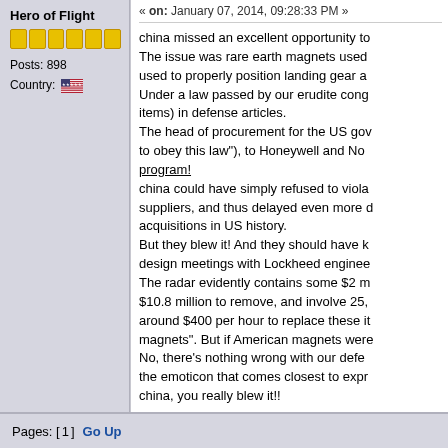« on: January 07, 2014, 09:28:33 PM »
Hero of Flight
Posts: 898
Country:
china missed an excellent opportunity to... The issue was rare earth magnets used... used to properly position landing gear a... Under a law passed by our erudite cong... items) in defense articles. The head of procurement for the US gov... to obey this law"), to Honeywell and Nor... program! china could have simply refused to viola... suppliers, and thus delayed even more d... acquisitions in US history. But they blew it! And they should have k... design meetings with Lockheed enginee... The radar evidently contains some $2 m... $10.8 million to remove, and involve 25,... around $400 per hour to replace these it... magnets". But if American magnets were... No, there's nothing wrong with our defe... the emoticon that comes closest to expr... china, you really blew it!!
Pages: [1]  Go Up